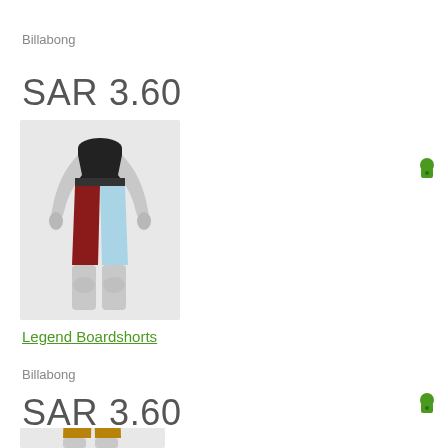Billabong
SAR 3.60
[Figure (photo): Mannequin wearing red and light blue board shorts on white background]
Legend Boardshorts
Billabong
SAR 3.60
[Figure (photo): Mannequin wearing tan/khaki board shorts on white background]